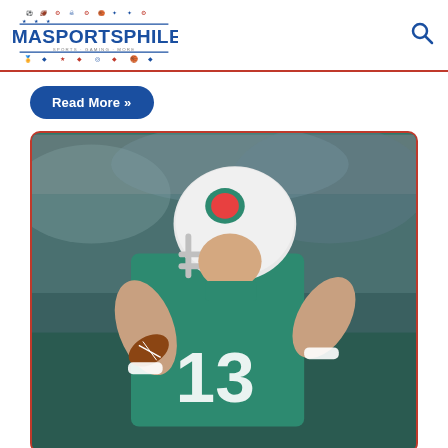IMASPORTSPHILE
Read More »
[Figure (photo): Miami Dolphins quarterback wearing teal #13 jersey and white helmet with Dolphins logo, holding football in passing stance, crowd blurred in background]